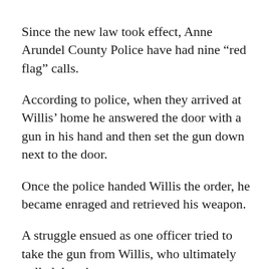Since the new law took effect, Anne Arundel County Police have had nine “red flag” calls.
According to police, when they arrived at Willis’ home he answered the door with a gun in his hand and then set the gun down next to the door.
Once the police handed Willis the order, he became enraged and retrieved his weapon.
A struggle ensued as one officer tried to take the gun from Willis, who ultimately pulled the trigger.
The other officer responded by firing his weapon at Willis, killing him.